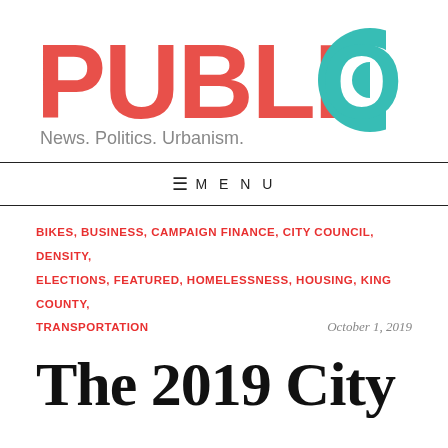[Figure (logo): PubliCola logo with tagline 'News. Politics. Urbanism.' — PUBLI in red/coral, C in teal circle with inner circle, OLA in teal]
≡ MENU
BIKES, BUSINESS, CAMPAIGN FINANCE, CITY COUNCIL, DENSITY,
ELECTIONS, FEATURED, HOMELESSNESS, HOUSING, KING COUNTY,
TRANSPORTATION          October 1, 2019
The 2019 City